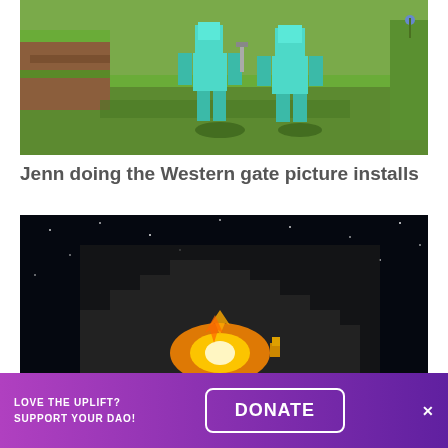[Figure (screenshot): Minecraft screenshot showing two characters in diamond armor standing on a grassy terrain, with blocks and landscape visible. One character holds a sword.]
Jenn doing the Western gate picture installs
[Figure (screenshot): Minecraft night scene showing a dark sky with stars, a large structure with fire/glowing explosion at the bottom, and a small figure visible.]
LOVE THE UPLIFT? SUPPORT YOUR DAO!